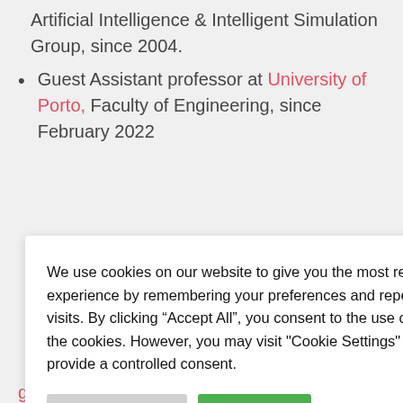Artificial Intelligence & Intelligent Simulation Group, since 2004.
Guest Assistant professor at University of Porto, Faculty of Engineering, since February 2022
We use cookies on our website to give you the most relevant experience by remembering your preferences and repeat visits. By clicking “Accept All”, you consent to the use of ALL the cookies. However, you may visit "Cookie Settings" to provide a controlled consent.
Cookie Settings | Accept All
Light | Dark